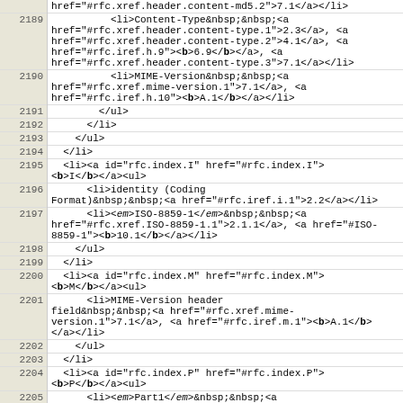| line | code |
| --- | --- |
|  | href="#rfc.xref.header.content-md5.2">7.1</a></li> |
| 2189 |           <li>Content-Type&nbsp;&nbsp;<a href="#rfc.xref.header.content-type.1">2.3</a>, <a href="#rfc.xref.header.content-type.2">4.1</a>, <a href="#rfc.iref.h.9"><b>6.9</b></a>, <a href="#rfc.xref.header.content-type.3">7.1</a></li> |
| 2190 |           <li>MIME-Version&nbsp;&nbsp;<a href="#rfc.xref.mime-version.1">7.1</a>, <a href="#rfc.iref.h.10"><b>A.1</b></a></li> |
| 2191 |         </ul> |
| 2192 |       </li> |
| 2193 |     </ul> |
| 2194 |   </li> |
| 2195 |   <li><a id="rfc.index.I" href="#rfc.index.I"><b>I</b></a><ul> |
| 2196 |       <li>identity (Coding Format)&nbsp;&nbsp;<a href="#rfc.iref.i.1">2.2</a></li> |
| 2197 |       <li><em>ISO-8859-1</em>&nbsp;&nbsp;<a href="#rfc.xref.ISO-8859-1.1">2.1.1</a>, <a href="#ISO-8859-1"><b>10.1</b></a></li> |
| 2198 |     </ul> |
| 2199 |   </li> |
| 2200 |   <li><a id="rfc.index.M" href="#rfc.index.M"><b>M</b></a><ul> |
| 2201 |       <li>MIME-Version header field&nbsp;&nbsp;<a href="#rfc.xref.mime-version.1">7.1</a>, <a href="#rfc.iref.m.1"><b>A.1</b></a></li> |
| 2202 |     </ul> |
| 2203 |   </li> |
| 2204 |   <li><a id="rfc.index.P" href="#rfc.index.P"><b>P</b></a><ul> |
| 2205 |       <li><em>Part1</em>&nbsp;&nbsp;<a href="#rfc.xref.Part1.1">1.3</a>, <a href="#rfc.xref.Part1.2">1.3.1</a>, <a |